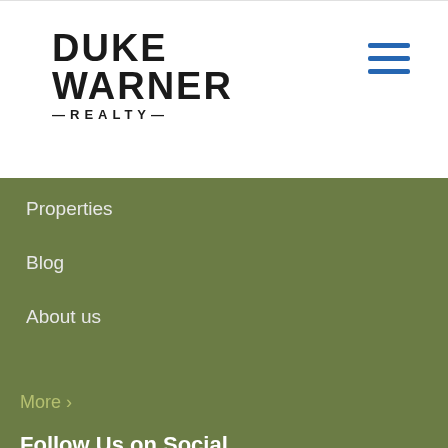[Figure (logo): Duke Warner Realty logo in bold black text]
[Figure (other): Hamburger menu icon (three horizontal blue lines)]
Properties
Blog
About us
More >
Follow Us on Social
[Figure (other): Facebook, Twitter, and YouTube social media icons]